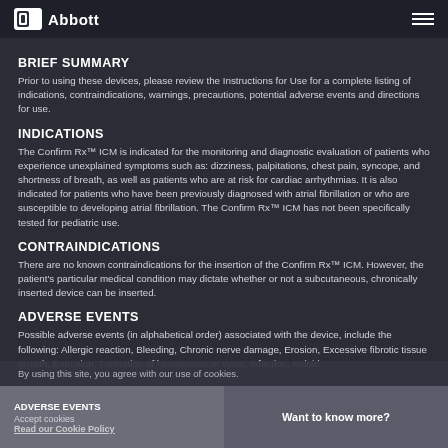Abbott
BRIEF SUMMARY
Prior to using these devices, please review the Instructions for Use for a complete listing of indications, contraindications, warnings, precautions, potential adverse events and directions for use.
INDICATIONS
The Confirm Rx™ ICM is indicated for the monitoring and diagnostic evaluation of patients who experience unexplained symptoms such as: dizziness, palpitations, chest pain, syncope, and shortness of breath, as well as patients who are at risk for cardiac arrhythmias. It is also indicated for patients who have been previously diagnosed with atrial fibrillation or who are susceptible to developing atrial fibrillation. The Confirm Rx™ ICM has not been specifically tested for pediatric use.
CONTRAINDICATIONS
There are no known contraindications for the insertion of the Confirm Rx™ ICM. However, the patient's particular medical condition may dictate whether or not a subcutaneous, chronically inserted device can be inserted.
ADVERSE EVENTS
Possible adverse events (in alphabetical order) associated with the device, include the following: Allergic reaction, Bleeding, Chronic nerve damage, Erosion, Excessive fibrotic tissue growth, Extrusion, Formation of hematomas or cysts, Infection, Keloid
By using this site, you agree with our use of cookies.
Accept cookies
Want to know more?
Read our Cookie Policy